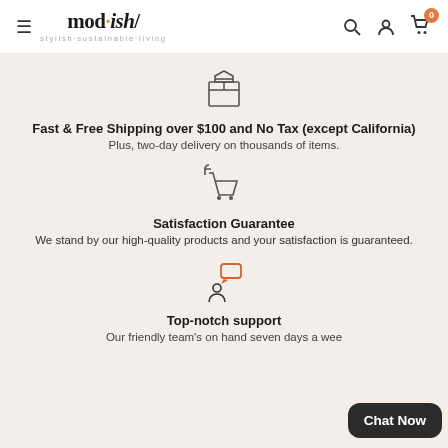mod·ish/ stylish·sustainable·living
[Figure (illustration): Box/package icon in dark outline style]
Fast & Free Shipping over $100 and No Tax (except California)
Plus, two-day delivery on thousands of items.
[Figure (illustration): Return/shopping cart icon with return arrow, in dark outline style]
Satisfaction Guarantee
We stand by our high-quality products and your satisfaction is guaranteed.
[Figure (illustration): Customer support / chat person icon in orange/salmon color]
Top-notch support
Our friendly team's on hand seven days a week.